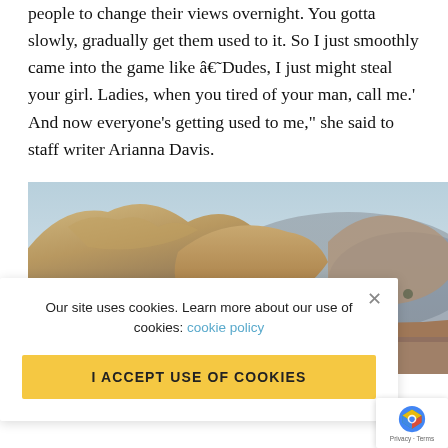people to change their views overnight. You gotta slowly, gradually get them used to it. So I just smoothly came into the game like â€˜Dudes, I just might steal your girl. Ladies, when you tired of your man, call me.' And now everyone's getting used to me," she said to staff writer Arianna Davis.
[Figure (photo): Outdoor landscape photo showing rocky desert hills and mountains under a blue sky with sparse vegetation]
Our site uses cookies. Learn more about our use of cookies: cookie policy
I ACCEPT USE OF COOKIES